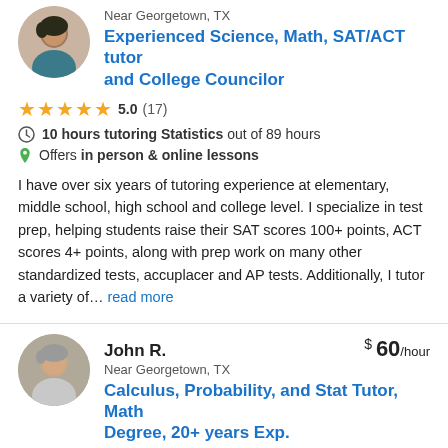[Figure (photo): Circular avatar photo of a woman with dark hair, partial view at top]
Near Georgetown, TX
Experienced Science, Math, SAT/ACT tutor and College Councilor
5.0 (17)
10 hours tutoring Statistics out of 89 hours
Offers in person & online lessons
I have over six years of tutoring experience at elementary, middle school, high school and college level. I specialize in test prep, helping students raise their SAT scores 100+ points, ACT scores 4+ points, along with prep work on many other standardized tests, accuplacer and AP tests. Additionally, I tutor a variety of... read more
[Figure (photo): Circular avatar photo of a man with gray hair]
John R.
$ 60/hour
Near Georgetown, TX
Calculus, Probability, and Stat Tutor, Math Degree, 20+ years Exp.